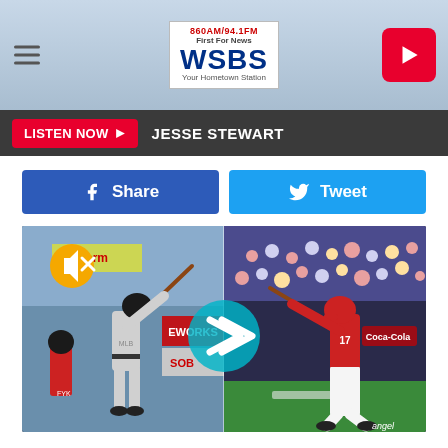860AM/94.1FM First For News WSBS Your Hometown Station
LISTEN NOW  JESSE STEWART
[Figure (screenshot): Two baseball players batting side by side, one in grey Yankees uniform and one in red Angels uniform, with a teal play button overlay and gold mute icon]
Engaging as an active citizen in our nation, the Norman Rockwell Museum is working in new ways with this arts-based civic project in support of democracy, highlighting